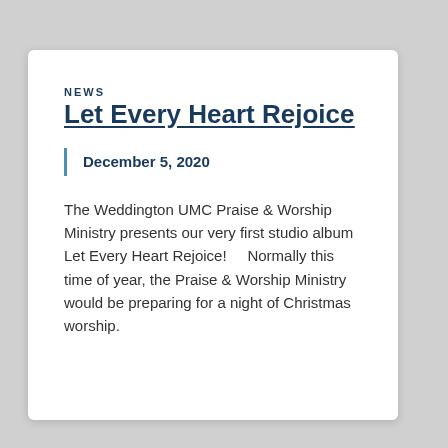NEWS
Let Every Heart Rejoice
December 5, 2020
The Weddington UMC Praise & Worship Ministry presents our very first studio album Let Every Heart Rejoice!    Normally this time of year, the Praise & Worship Ministry would be preparing for a night of Christmas worship.